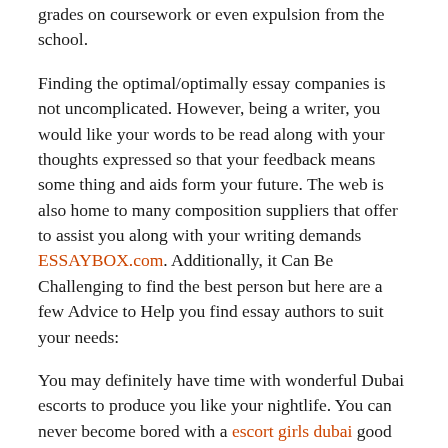grades on coursework or even expulsion from the school.
Finding the optimal/optimally essay companies is not uncomplicated. However, being a writer, you would like your words to be read along with your thoughts expressed so that your feedback means some thing and aids form your future. The web is also home to many composition suppliers that offer to assist you along with your writing demands ESSAYBOX.com. Additionally, it Can Be Challenging to find the best person but here are a few Advice to Help you find essay authors to suit your needs:
You may definitely have time with wonderful Dubai escorts to produce you like your nightlife. You can never become bored with a escort girls dubai good GFE encounter at the wonderful Abu Dhabi. The area is full of new tactics to enable you to enjoy and have a wonderful time. If you're a genuine nature enthusiast then you have to try out this city, and it is well known for its exoticism and glamor. And